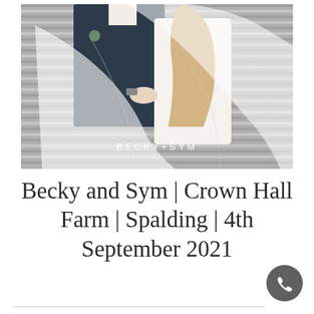[Figure (photo): Wedding photo of a couple (bride in white dress with flowing veil, groom in dark suit) standing in front of a corrugated metal wall. The veil billows dramatically. Text overlay reads 'BECKY+SYM'.]
Becky and Sym | Crown Hall Farm | Spalding | 4th September 2021